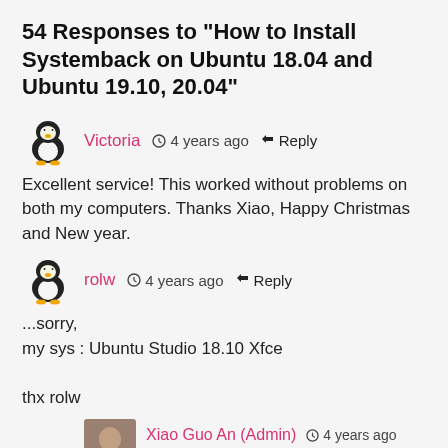54 Responses to “How to Install Systemback on Ubuntu 18.04 and Ubuntu 19.10, 20.04”
Victoria   ⏰ 4 years ago   ↩ Reply
Excellent service! This worked without problems on both my computers. Thanks Xiao, Happy Christmas and New year.
rolw   ⏰ 4 years ago   ↩ Reply
...sorry,
my sys : Ubuntu Studio 18.10 Xfce
thx rolw
Xiao Guo An (Admin)   ⏰ 4 years ago
↩ Reply
Please paste the command output here.
rolw   ⏰ 4 years ago   ↩ Reply